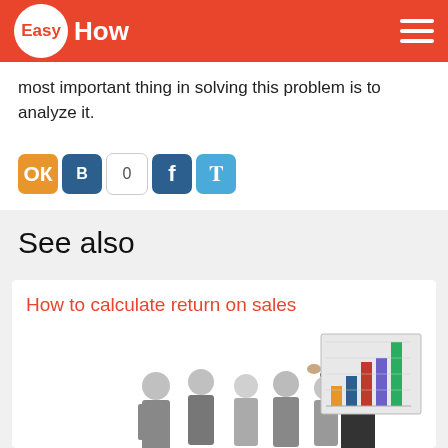EasyHow
most important thing in solving this problem is to analyze it.
[Figure (infographic): Social sharing buttons: Odnoklassniki (orange), VKontakte (dark blue) with count 0, Facebook (dark blue), Twitter (light blue)]
See also
How to calculate return on sales
[Figure (photo): Group of business people in suits standing together; one person in foreground holding up a bar chart showing colored bars (orange, blue, red, purple, green) with upward trend]